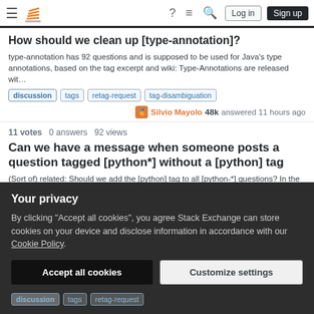Stack Overflow navigation bar with Log in and Sign up buttons
How should we clean up [type-annotation]?
type-annotation has 92 questions and is supposed to be used for Java's type annotations, based on the tag excerpt and wiki: Type-Annotations are released wit…
Tags: discussion, tags, retag-request, tag-disambiguation
Silvio Mayolo 48k answered 11 hours ago
11 votes  0 answers  92 views
Can we have a message when someone posts a question tagged [python*] without a [python] tag
(Sort of) related: Should we add the [python] tag to all [python-*] questions? In the Spanish version of Meta Stack Overflow, this feature was already requested and h…
feature-request  tags  The Thonnu 2,382 asked 21 hours ago
Your privacy
By clicking "Accept all cookies", you agree Stack Exchange can store cookies on your device and disclose information in accordance with our Cookie Policy.
Accept all cookies  Customize settings
Tags: discussion, tags, retag-request